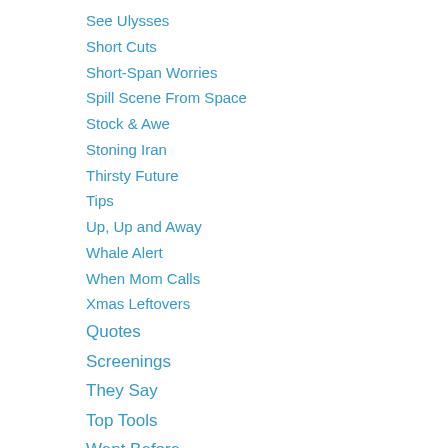See Ulysses
Short Cuts
Short-Span Worries
Spill Scene From Space
Stock & Awe
Stoning Iran
Thirsty Future
Tips
Up, Up and Away
Whale Alert
When Mom Calls
Xmas Leftovers
Quotes
Screenings
They Say
Top Tools
Went Before
So Long, Dennis Hopper
What's This?
World Cup 2010